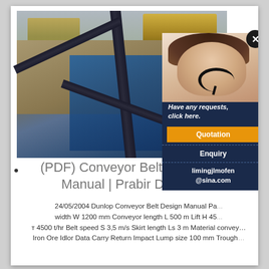[Figure (photo): Aerial/overhead photo of an industrial conveyor belt system at a mining or quarry site, with blue metal structures, diagonal belt conveyors, and heavy machinery/trucks visible in the background. A customer service representative with a headset is shown in an overlaid chat widget on the right side.]
(PDF) Conveyor Belt Design Manual | Prabir Datta
24/05/2004 Dunlop Conveyor Belt Design Manual Pa... width W 1200 mm Conveyor length L 500 m Lift H 45... т 4500 t/hr Belt speed S 3,5 m/s Skirt length Ls 3 m Material convey… Iron Ore Idlor Data Carry Return Impact Lump size 100 mm Trough…